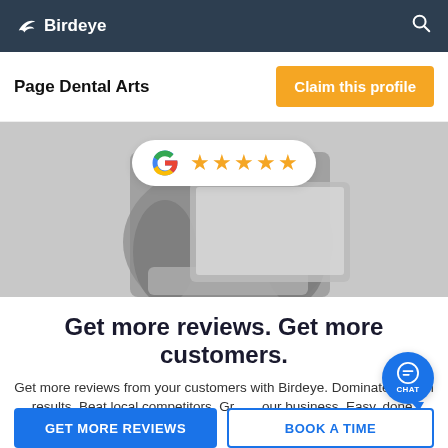Birdeye
Page Dental Arts
Claim this profile
[Figure (screenshot): Person holding a laptop with a Google 5-star rating badge overlaid in the upper center area of the image]
Get more reviews. Get more customers.
Get more reviews from your customers with Birdeye. Dominate search results. Beat local competitors. Grow your business. Easy, done.
GET MORE REVIEWS
BOOK A TIME